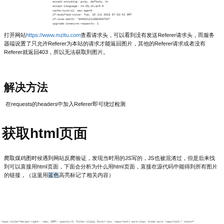[Figure (screenshot): Code snippet showing HTTP headers: accept-encoding: gzip, deflate, br; accept-language: zh-CN,zh;q=0.9; cache-control: max-age=0; if-modified-since: Tue, 10 Jul 2018 07:52:42 GMT; if-none-match: W/0602121188694703; upgrade-insecure-requests: 1]
打开网站https://www.mzitu.com查看请求头，可以看到没有发送Referer请求头，而服务器端设置了只允许Referer为本站的请求才能返回图片，其他的Referer请求或者没有Referer就返回403，所以无法获取到图片。
解决方法
在requests的headers中加入Referer即可绕过检测
获取html页面
爬取煤鸡图时候遇到网站反爬验证，发现当时用的JS写的，JS也被混淆过，但是后来找到可以直接用html页面，下面会分析为什么用html页面，直接在源代码中能得到所有图片的链接，（这里用蓝色高亮标记了相关内容）
[Figure (screenshot): Bottom code line showing HTML style attributes]